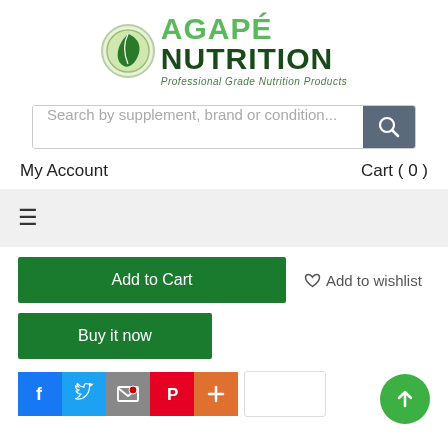[Figure (logo): Agapé Nutrition logo with green leaf icon, green AGAPÉ text, dark green NUTRITION text, and tagline 'Professional Grade Nutrition Products']
Search by supplement, brand or condition...
My Account
Cart ( 0 )
≡
Add to Cart
Add to wishlist
Buy it now
[Figure (infographic): Social share buttons: Facebook (blue), Twitter (light blue), Email (grey), Pinterest (red), Plus/More (orange), and an empty share count box]